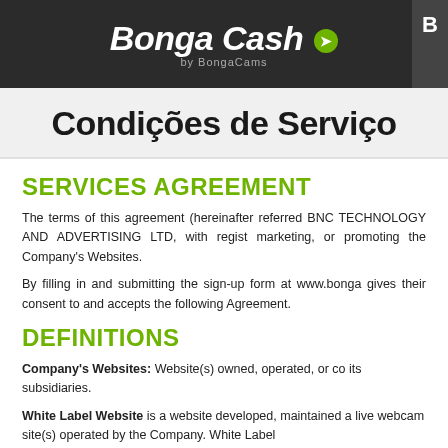[Figure (logo): BongaCash by BongaCams logo on dark background header]
Condições de Serviço
SERVICES AGREEMENT
The terms of this agreement (hereinafter referred BNC TECHNOLOGY AND ADVERTISING LTD, with regist marketing, or promoting the Company's Websites.
By filling in and submitting the sign-up form at www.bonga gives their consent to and accepts the following Agreement.
DEFINITIONS
Company's Websites: Website(s) owned, operated, or co its subsidiaries.
White Label Website is a website developed, maintained a live webcam site(s) operated by the Company. White Label